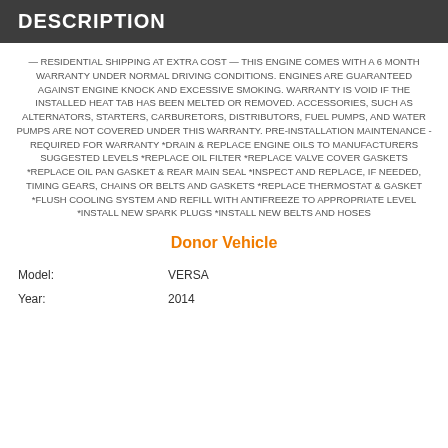DESCRIPTION
— RESIDENTIAL SHIPPING AT EXTRA COST — THIS ENGINE COMES WITH A 6 MONTH WARRANTY UNDER NORMAL DRIVING CONDITIONS. ENGINES ARE GUARANTEED AGAINST ENGINE KNOCK AND EXCESSIVE SMOKING. WARRANTY IS VOID IF THE INSTALLED HEAT TAB HAS BEEN MELTED OR REMOVED. ACCESSORIES, SUCH AS ALTERNATORS, STARTERS, CARBURETORS, DISTRIBUTORS, FUEL PUMPS, AND WATER PUMPS ARE NOT COVERED UNDER THIS WARRANTY. PRE-INSTALLATION MAINTENANCE - REQUIRED FOR WARRANTY *DRAIN & REPLACE ENGINE OILS TO MANUFACTURERS SUGGESTED LEVELS *REPLACE OIL FILTER *REPLACE VALVE COVER GASKETS *REPLACE OIL PAN GASKET & REAR MAIN SEAL *INSPECT AND REPLACE, IF NEEDED, TIMING GEARS, CHAINS OR BELTS AND GASKETS *REPLACE THERMOSTAT & GASKET *FLUSH COOLING SYSTEM AND REFILL WITH ANTIFREEZE TO APPROPRIATE LEVEL *INSTALL NEW SPARK PLUGS *INSTALL NEW BELTS AND HOSES
Donor Vehicle
| Model: | VERSA |
| Year: | 2014 |